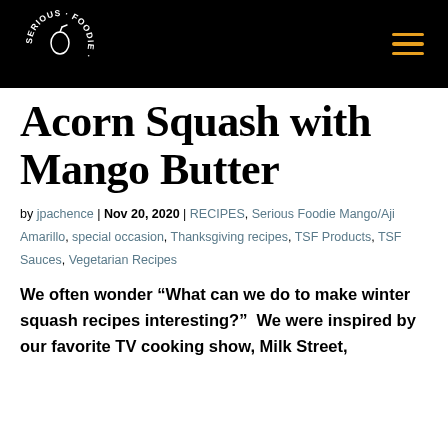Serious Foodie
Acorn Squash with Mango Butter
by jpachence | Nov 20, 2020 | RECIPES, Serious Foodie Mango/Aji Amarillo, special occasion, Thanksgiving recipes, TSF Products, TSF Sauces, Vegetarian Recipes
We often wonder “What can we do to make winter squash recipes interesting?”  We were inspired by our favorite TV cooking show, Milk Street,